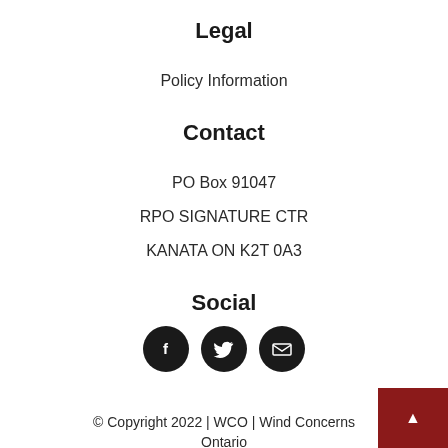Legal
Policy Information
Contact
PO Box 91047
RPO SIGNATURE CTR
KANATA ON K2T 0A3
Social
[Figure (infographic): Three circular social media icons: Facebook (f), Twitter (bird), and Email (envelope), all black circles with white icons.]
© Copyright 2022 | WCO | Wind Concerns Ontario